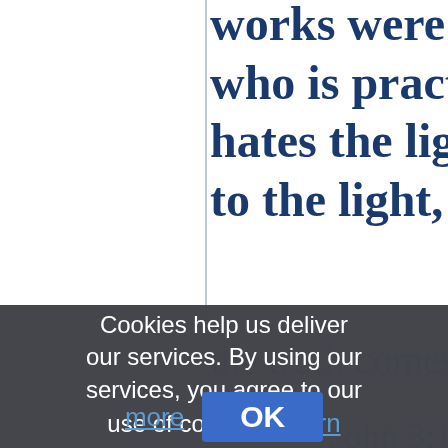works were worked. For who is practising evil ma hates the light and does to the light, lest his works
[Figure (screenshot): Cookie consent overlay on top of a webpage showing biblical text. The overlay reads: 'Cookies help us deliver our services. By using our services, you agree to our use of cookies. Learn more [OK button]']
Cookies help us deliver our services. By using our services, you agree to our use of cookies. Learn more